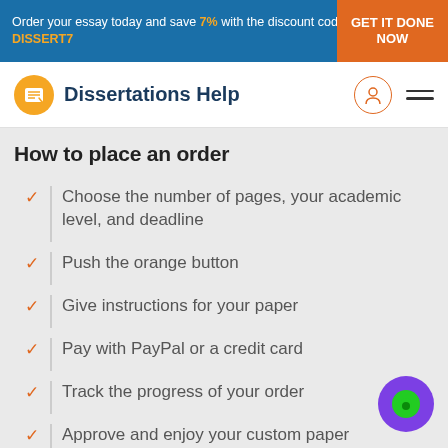Order your essay today and save 7% with the discount code DISSERT7 | GET IT DONE NOW
[Figure (logo): Dissertations Help logo with orange circle icon and bold dark blue text]
How to place an order
Choose the number of pages, your academic level, and deadline
Push the orange button
Give instructions for your paper
Pay with PayPal or a credit card
Track the progress of your order
Approve and enjoy your custom paper